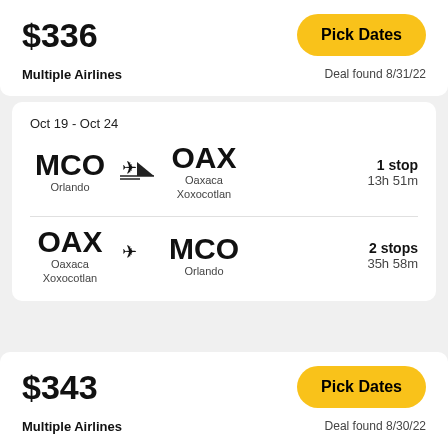$336
Pick Dates
Multiple Airlines
Deal found 8/31/22
Oct 19 - Oct 24
MCO Orlando → OAX Oaxaca Xoxocotlan — 1 stop, 13h 51m
OAX Oaxaca Xoxocotlan → MCO Orlando — 2 stops, 35h 58m
$343
Pick Dates
Multiple Airlines
Deal found 8/30/22